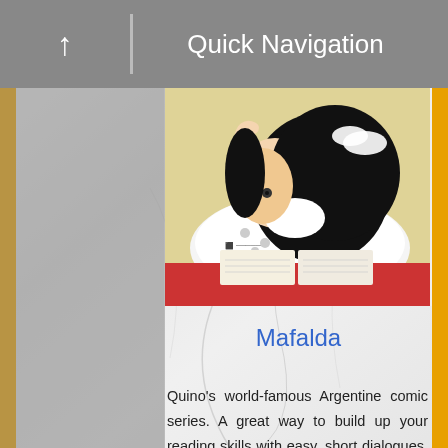Quick Navigation
[Figure (illustration): Mafalda comic character lying on stomach reading a book, with black hair, viewed from behind, on yellow background]
Mafalda
Quino's world-famous Argentine comic series. A great way to build up your reading skills with easy, short dialogues. The simple grammar and vocabulary used means that you should be able to read through these without too much reliance on